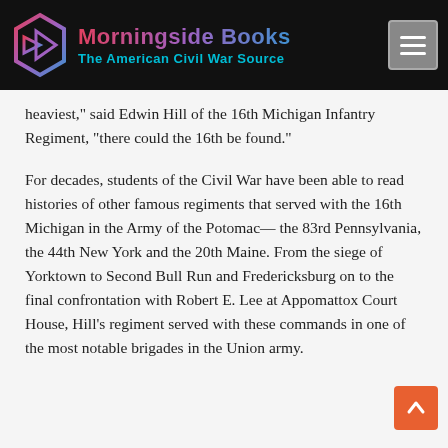[Figure (logo): Morningside Books logo with stylized arrow/book icon and text 'Morningside Books — The American Civil War Source' on dark background with hamburger menu button]
heaviest," said Edwin Hill of the 16th Michigan Infantry Regiment, "there could the 16th be found."
For decades, students of the Civil War have been able to read histories of other famous regiments that served with the 16th Michigan in the Army of the Potomac— the 83rd Pennsylvania, the 44th New York and the 20th Maine. From the siege of Yorktown to Second Bull Run and Fredericksburg on to the final confrontation with Robert E. Lee at Appomattox Court House, Hill's regiment served with these commands in one of the most notable brigades in the Union army.